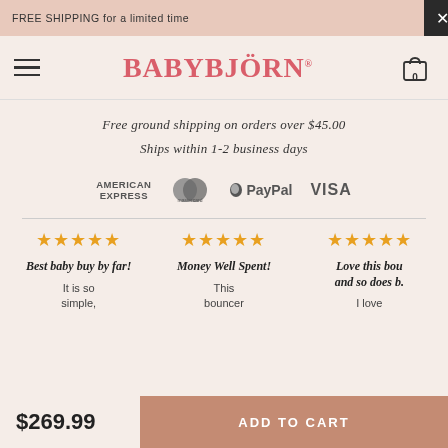FREE SHIPPING for a limited time
[Figure (logo): BabyBjörn logo with hamburger menu and cart icon]
Free ground shipping on orders over $45.00
Ships within 1-2 business days
[Figure (infographic): Payment method logos: American Express, Mastercard, PayPal, Visa]
★★★★★  Best baby buy by far!  It is so simple,
★★★★★  Money Well Spent!  This bouncer
★★★★★  Love this bou and so does b.  I love
$269.99
ADD TO CART